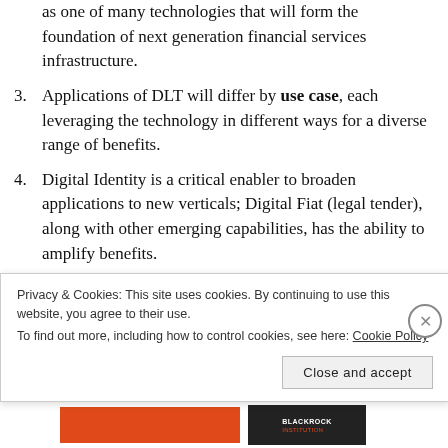as one of many technologies that will form the foundation of next generation financial services infrastructure.
3. Applications of DLT will differ by use case, each leveraging the technology in different ways for a diverse range of benefits.
4. Digital Identity is a critical enabler to broaden applications to new verticals; Digital Fiat (legal tender), along with other emerging capabilities, has the ability to amplify benefits.
5. The most impactful DLT applications will require
Privacy & Cookies: This site uses cookies. By continuing to use this website, you agree to their use. To find out more, including how to control cookies, see here: Cookie Policy
Close and accept